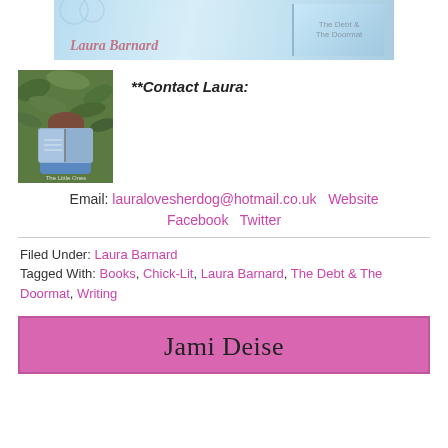[Figure (illustration): Banner image with decorative blue/teal background and 'Laura Barnard' text in pink italic font, with another book or panel visible on the right]
[Figure (photo): Author photo: a woman holding a book up to hide part of her face, standing in front of green foliage. Text 'The Little Ones' visible at the bottom of the photo.]
**Contact Laura:
Email: lauralovesherdog@hotmail.co.uk   Website
Facebook   Twitter
Filed Under: Laura Barnard
Tagged With: Books, Chick-Lit, Laura Barnard, The Debt & The Doormat, Writing
Jami Deise